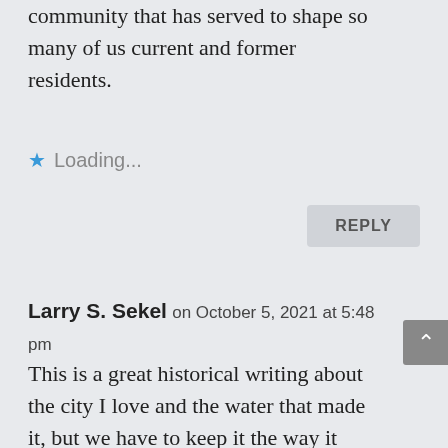community that has served to shape so many of us current and former residents.
Loading...
REPLY
Larry S. Sekel on October 5, 2021 at 5:48 pm
This is a great historical writing about the city I love and the water that made it, but we have to keep it the way it was given to us from the hard work of our ancestors and its